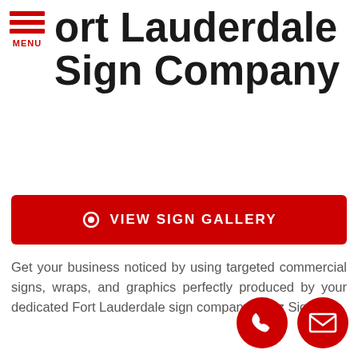MENU
Fort Lauderdale Sign Company
[Figure (other): Red button with eye icon and text VIEW SIGN GALLERY]
Get your business noticed by using targeted commercial signs, wraps, and graphics perfectly produced by your dedicated Fort Lauderdale sign company, Cruz Signs!
[Figure (other): Red circular phone contact button and red circular email contact button at bottom right]